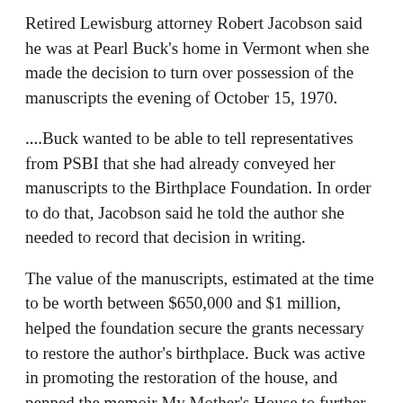Retired Lewisburg attorney Robert Jacobson said he was at Pearl Buck's home in Vermont when she made the decision to turn over possession of the manuscripts the evening of October 15, 1970.
....Buck wanted to be able to tell representatives from PSBI that she had already conveyed her manuscripts to the Birthplace Foundation. In order to do that, Jacobson said he told the author she needed to record that decision in writing.
The value of the manuscripts, estimated at the time to be worth between $650,000 and $1 million, helped the foundation secure the grants necessary to restore the author's birthplace. Buck was active in promoting the restoration of the house, and penned the memoir My Mother's House to further aid the foundation in its efforts.
The Birthplace Foundation has since restored the house to the way it appeared in 1892, the author's birth year. The house is open for tours from May through October, and the foundation has two